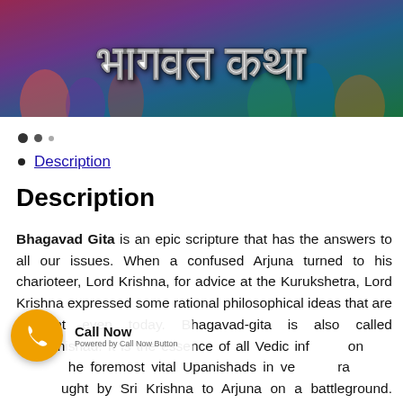[Figure (photo): Banner image with colorful figures/people and Hindi text 'भागवत कथा' overlaid in white]
• · ·
• Description
Description
Bhagavad Gita is an epic scripture that has the answers to all our issues. When a confused Arjuna turned to his charioteer, Lord Krishna, for advice at the Kurukshetra, Lord Krishna expressed some rational philosophical ideas that are relevant even today. Bhagavad-gita is also called Gitopanishad. It is the essence of all Vedic information and one of the foremost vital Upanishads in vedic literature. It was taught by Sri Krishna to Arjuna on a battleground. Arjuna was a warrior prince, a hero, who